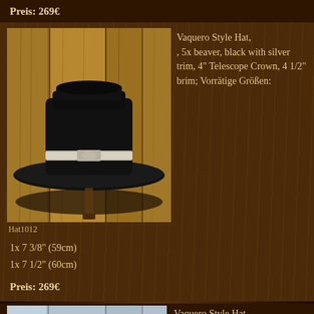Preis: 269€
[Figure (photo): Black Vaquero Style Hat with silver trim band displayed on a wooden stand against a wooden plank background]
Hat1012
Vaquero Style Hat, , 5x beaver, black with silver trim, 4" Telescope Crown, 4 1/2" brim; Vorrätige Größen:
1x 7 3/8" (59cm)
1x 7 1/2" (60cm)
Preis: 269€
[Figure (photo): Vaquero Style Hat partially visible at the bottom of the page]
Vaquero Style Hat,